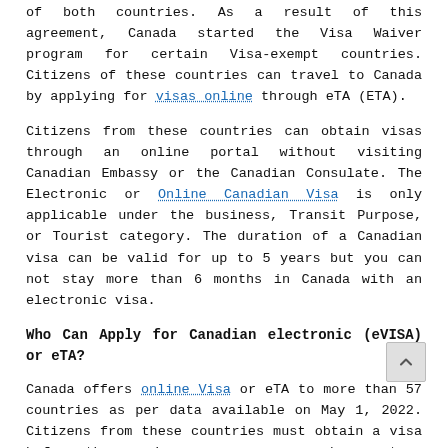of both countries. As a result of this agreement, Canada started the Visa Waiver program for certain Visa-exempt countries. Citizens of these countries can travel to Canada by applying for visas online through eTA (ETA).
Citizens from these countries can obtain visas through an online portal without visiting Canadian Embassy or the Canadian Consulate. The Electronic or Online Canadian Visa is only applicable under the business, Transit Purpose, or Tourist category. The duration of a Canadian visa can be valid for up to 5 years but you can not stay more than 6 months in Canada with an electronic visa.
Who Can Apply for Canadian electronic (eVISA) or eTA?
Canada offers online Visa or eTA to more than 57 countries as per data available on May 1, 2022. Citizens from these countries must obtain a visa before they arrive in the country. Citizen of Canada or the United States only needs their respective country passport to travel. US lawful